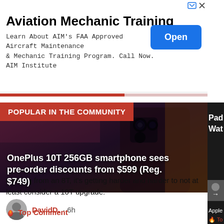[Figure (screenshot): Advertisement banner for Aviation Mechanic Training by AIM Institute with an 'Open' button]
Aviation Mechanic Training
Learn About AIM's FAA Approved Aircraft Maintenance & Mechanic Training Program. Call Now. AIM Institute
[Figure (screenshot): Article card showing OnePlus 10T 256GB smartphone with 'POPULAR IN THE COMMUNITY' badge and headline about pre-order discounts from $599 (Reg. $749)]
POPULAR IN THE COMMUNITY
OnePlus 10T 256GB smartphone sees pre-order discounts from $599 (Reg. $749)
DavidD. · 6h
Coming from an 8T, it's getting harder and harder to not at least consider a 10T upgrade.
Top Comment